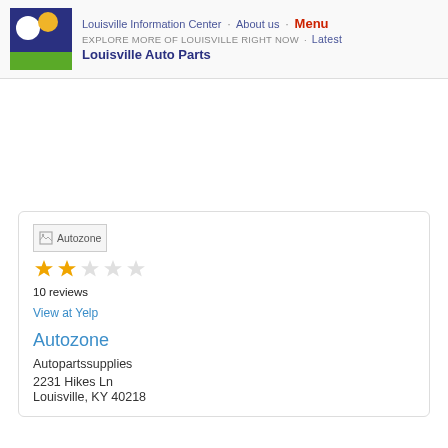Louisville Information Center · About us · Menu
EXPLORE MORE OF LOUISVILLE RIGHT NOW · Latest
Louisville Auto Parts
[Figure (other): Autozone business image placeholder (broken image icon with alt text 'Autozone')]
[Figure (other): 2.5 out of 5 star rating displayed as yellow star icons]
10 reviews
View at Yelp
Autozone
Autopartssupplies
2231 Hikes Ln
Louisville, KY 40218